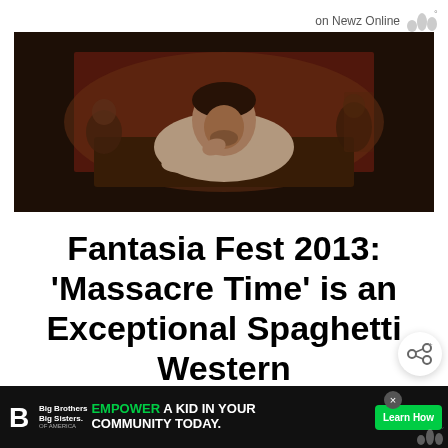on Newz Online
[Figure (photo): A man in a light-colored shirt crouching low, possibly in a western film scene, with other figures in the background in a dark, dramatic setting.]
Fantasia Fest 2013: ‘Massacre Time’ is an Exceptional Spaghetti Western
Lucio Fulci’s Massacre Time is playing at
[Figure (infographic): Advertisement bar: Big Brothers Big Sisters of America logo, text 'EMPOWER A KID IN YOUR COMMUNITY TODAY.' with a green 'Learn How' button and a close button.]